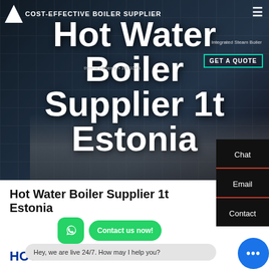[Figure (screenshot): Hero banner for Hot Water Boiler Supplier website with dark industrial background showing boilers, logo, navigation, and GET A QUOTE button]
Hot Water Boiler Supplier 1t Estonia
[Figure (other): WhatsApp icon (green rounded square) and Contact us now! button in green]
HOT NEWS
Hey, we are live 24/7. How may I help you?